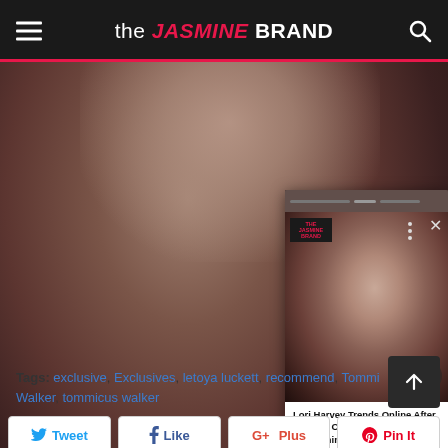the JASMINE BRAND
[Figure (photo): Screenshot of theJasmineBRAND website showing a photo of a young woman, with an overlay card showing another photo of the same woman with article title]
Lori Harvey Trends Online After Reports Of A Sex Tape Leaking - theJasmineBRAND
Tags: exclusive, Exclusives, letoya luckett, recommend, Tommi Walker, tommicus walker